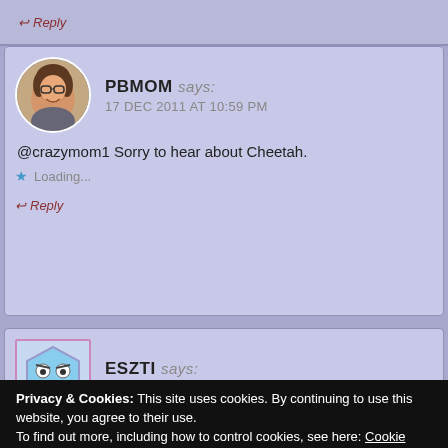↩ Reply
PBMOM says:
17 DEC 2011 AT 10:59 PM
@crazymom1 Sorry to hear about Cheetah.
★ Loading...
↩ Reply
ESZTI says:
18 DEC 2011 AT 12:43 AM
Privacy & Cookies: This site uses cookies. By continuing to use this website, you agree to their use.
To find out more, including how to control cookies, see here: Cookie Policy
Close and accept
↩ Reply